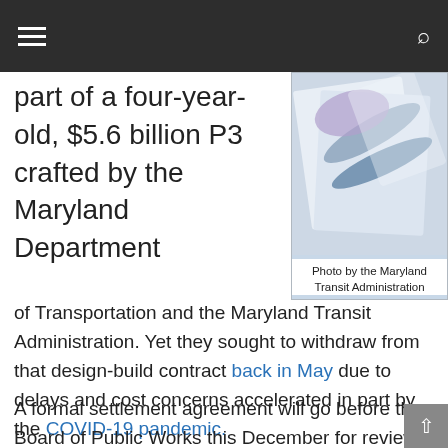Navigation bar with hamburger menu and search icon
part of a four-year-old, $5.6 billion P3 crafted by the Maryland Department of Transportation and the Maryland Transit Administration. Yet they sought to withdraw from that design-build contract back in May due to delays and cost concerns accelerated in part by the COVID-19 pandemic.
[Figure (photo): Photo showing scissors and papers, blue/gray tones. Caption: Photo by the Maryland Transit Administration]
Photo by the Maryland Transit Administration
A formal settlement agreement will go before the Board of Public Works this December for review and approval. The parties agreed to put all pending claims and litigation on hold pending BPW review of the settlement agreement, the Maryland DOT noted in a statement.